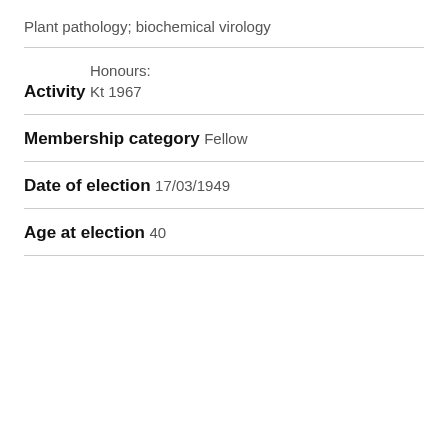Plant pathology; biochemical virology
Activity
Honours:
Kt 1967
Membership category
Fellow
Date of election
17/03/1949
Age at election
40